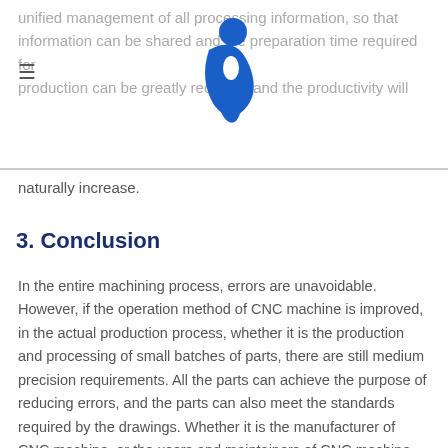unified management of all processing information, so that information can be shared and the preparation time required for production can be greatly reduced, and the productivity will naturally increase.
3. Conclusion
In the entire machining process, errors are unavoidable. However, if the operation method of CNC machine is improved, in the actual production process, whether it is the production and processing of small batches of parts, there are still medium precision requirements. All the parts can achieve the purpose of reducing errors, and the parts can also meet the standards required by the drawings. Whether it is the manufacturer of CNC machine, or the users and maintainers of CNC machine tools, they must pay sufficient attention to the machining accuracy of CNC machine. CNC machine usually have extremely complex error sources. This article only analyzes the most important ones and proposes